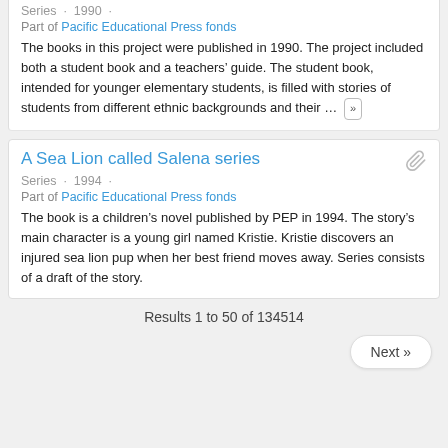Series · 1990 ·
Part of Pacific Educational Press fonds
The books in this project were published in 1990. The project included both a student book and a teachers' guide. The student book, intended for younger elementary students, is filled with stories of students from different ethnic backgrounds and their … »
A Sea Lion called Salena series
Series · 1994 ·
Part of Pacific Educational Press fonds
The book is a children's novel published by PEP in 1994. The story's main character is a young girl named Kristie. Kristie discovers an injured sea lion pup when her best friend moves away. Series consists of a draft of the story.
Results 1 to 50 of 134514
Next »